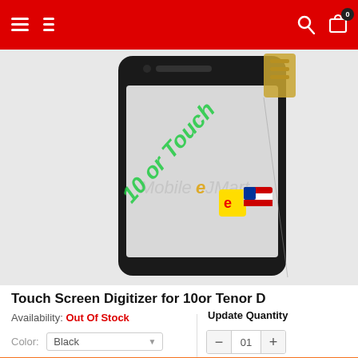Mobile eJMart navigation header
[Figure (photo): Touch screen digitizer for 10or Tenor D smartphone, black, shown against white background with MobileeJMart watermark and green '10 or Touch' diagonal text overlay]
Touch Screen Digitizer for 10or Tenor D
Availability: Out Of Stock
Update Quantity
Color: Black
- 01 +
Out of Stock